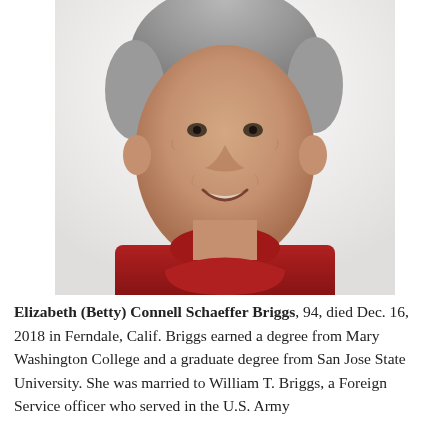[Figure (photo): Portrait photo of an elderly woman with short gray hair, smiling, wearing a dark red turtleneck sweater, against a white background.]
Elizabeth (Betty) Connell Schaeffer Briggs, 94, died Dec. 16, 2018 in Ferndale, Calif. Briggs earned a degree from Mary Washington College and a graduate degree from San Jose State University. She was married to William T. Briggs, a Foreign Service officer who served in the U.S. Army